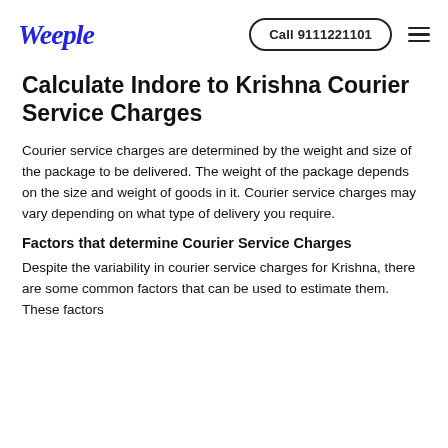Weeple | Call 9111221101
Calculate Indore to Krishna Courier Service Charges
Courier service charges are determined by the weight and size of the package to be delivered. The weight of the package depends on the size and weight of goods in it. Courier service charges may vary depending on what type of delivery you require.
Factors that determine Courier Service Charges
Despite the variability in courier service charges for Krishna, there are some common factors that can be used to estimate them. These factors